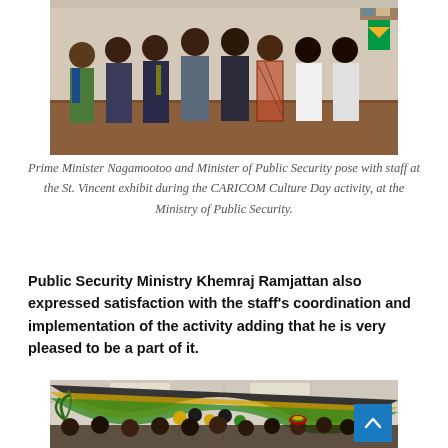[Figure (photo): Group photo of Prime Minister Nagamootoo and Minister of Public Security posing with staff at the St. Vincent exhibit during the CARICOM Culture Day activity at the Ministry of Public Security. Several people standing indoors.]
Prime Minister Nagamootoo and Minister of Public Security pose with staff at the St. Vincent exhibit during the CARICOM Culture Day activity, at the Ministry of Public Security.
Public Security Ministry Khemraj Ramjattan also expressed satisfaction with the staff's coordination and implementation of the activity adding that he is very pleased to be a part of it.
[Figure (photo): Indoor event photo showing people gathered under decorative black, green and yellow fabric draping and balloons, celebrating CARICOM Culture Day at the Ministry of Public Security.]